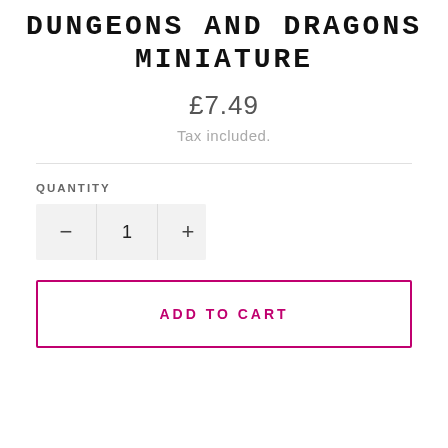DUNGEONS AND DRAGONS MINIATURE
£7.49
Tax included.
QUANTITY
ADD TO CART